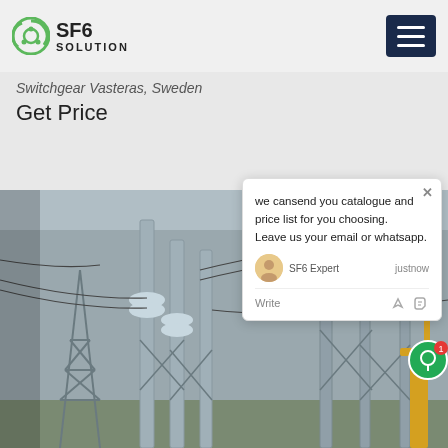SF6 SOLUTION
Switchgear Vasteras, Sweden
Get Price
[Figure (photo): Outdoor electrical switchgear substation with tall steel lattice towers, high-voltage equipment, insulators, and cables against a grey sky. Construction crane visible at right.]
we cansend you catalogue and price list for you choosing. Leave us your email or whatsapp.